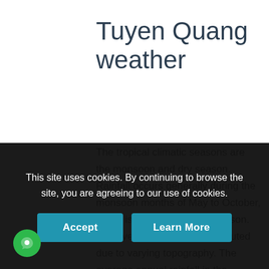Tuyen Quang weather
The tropical climatic seasons are the monsoon and dry season. Rainfall occurs generally during the monsoon months of May to October, which is also the summer season. However, it is unevenly distributed due to varying topography. The average annual rainfall in the province is 1,500
This site uses cookies. By continuing to browse the site, you are agreeing to our use of cookies.
Accept   Learn More